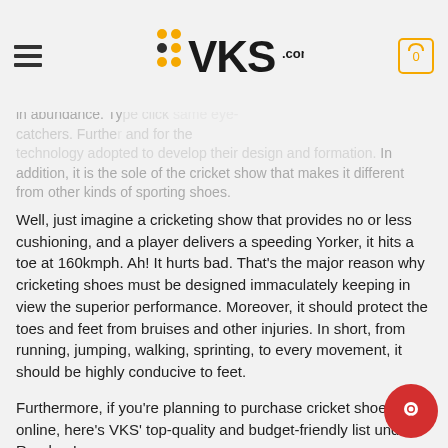VKS.com
in abundance. Ty... same eye-catchers. Furthe... and for the technology adopted to develop their design and formation. In addition, it is the sole of the cricket show that makes it different from other kinds of sporting shoes.
Well, just imagine a cricketing show that provides no or less cushioning, and a player delivers a speeding Yorker, it hits a toe at 160kmph. Ah! It hurts bad. That's the major reason why cricketing shoes must be designed immaculately keeping in view the superior performance. Moreover, it should protect the toes and feet from bruises and other injuries. In short, from running, jumping, walking, sprinting, to every movement, it should be highly conducive to feet.
Furthermore, if you're planning to purchase cricket shoes online, here's VKS' top-quality and budget-friendly list under. Read on!